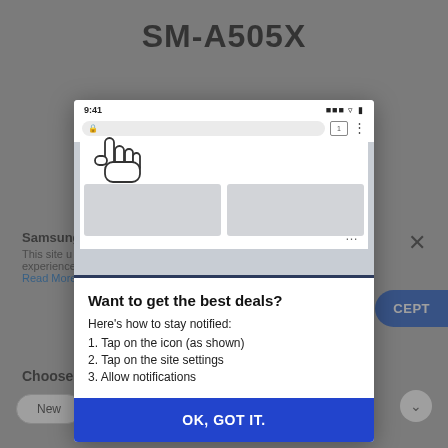SM-A505X
[Figure (screenshot): A modal dialog overlaid on a Samsung website page. The modal shows a phone browser screenshot at the top with a hand cursor icon pointing to a lock icon in the address bar, plus two gray card placeholders. Below the screenshot is a white panel with the heading 'Want to get the best deals?', instructional text, and a blue 'OK, GOT IT.' button.]
Want to get the best deals?
Here's how to stay notified:
1. Tap on the icon (as shown)
2. Tap on the site settings
3. Allow notifications
OK, GOT IT.